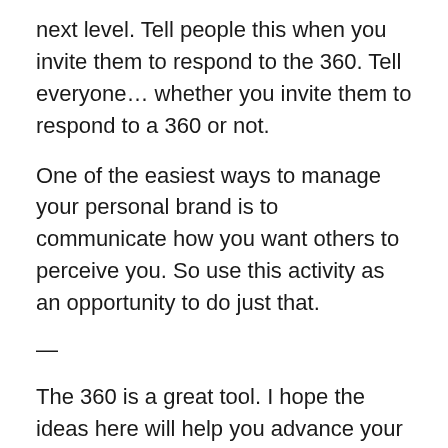next level. Tell people this when you invite them to respond to the 360. Tell everyone… whether you invite them to respond to a 360 or not.
One of the easiest ways to manage your personal brand is to communicate how you want others to perceive you. So use this activity as an opportunity to do just that.
—
The 360 is a great tool. I hope the ideas here will help you advance your career!
Joe Job Seeker, Personal Branding